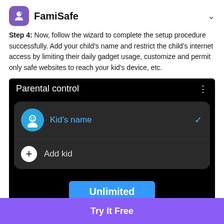FamiSafe
Step 4: Now, follow the wizard to complete the setup procedure successfully. Add your child's name and restrict the child's internet access by limiting their daily gadget usage, customize and permit only safe websites to reach your kid's device, etc.
[Figure (screenshot): Screenshot of FamiSafe Parental control screen on Android showing 'Kid's name' with chevron, 'Add kid' option, and an 'Unlimited' blue button at the bottom.]
Try It Free